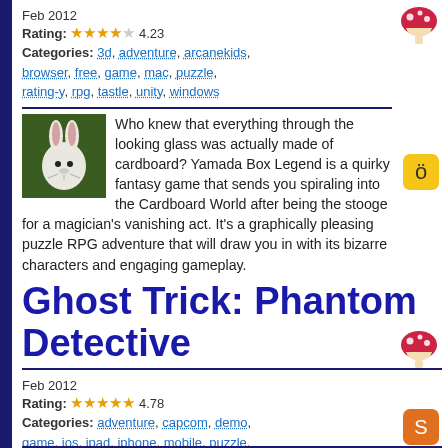Feb 2012
Rating: 4.23
Categories: 3d, adventure, arcanekids, browser, free, game, mac, puzzle, rating-y, rpg, tastle, unity, windows
Who knew that everything through the looking glass was actually made of cardboard? Yamada Box Legend is a quirky fantasy game that sends you spiraling into the Cardboard World after being the stooge for a magician's vanishing act. It's a graphically pleasing puzzle RPG adventure that will draw you in with its bizarre characters and engaging gameplay.
Ghost Trick: Phantom Detective
Feb 2012
Rating: 4.78
Categories: adventure, capcom, demo, game, ios, ipad, iphone, mobile, puzzle, rating-o, surreal